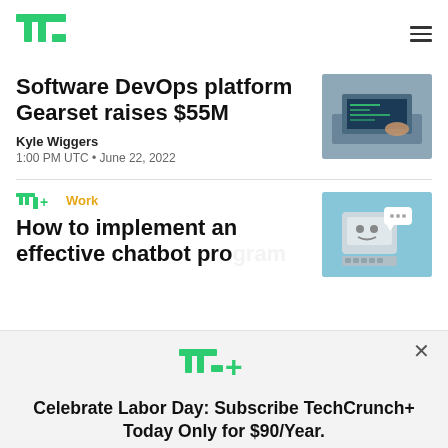TechCrunch
Software DevOps platform Gearset raises $55M
Kyle Wiggers
1:00 PM UTC • June 22, 2022
[Figure (photo): Person typing on laptop with code on screen]
TC+ Work
How to implement an effective chatbot program
[Figure (illustration): Robot on computer with chat bubble]
Celebrate Labor Day: Subscribe TechCrunch+ Today Only for $90/Year.
GET OFFER NOW